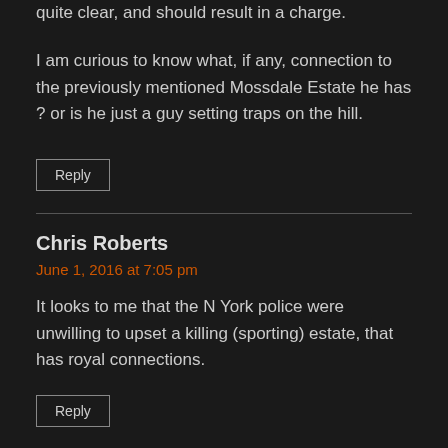quite clear, and should result in a charge.
I am curious to know what, if any, connection to the previously mentioned Mossdale Estate he has ? or is he just a guy setting traps on the hill.
Reply
Chris Roberts
June 1, 2016 at 7:05 pm
It looks to me that the N York police were unwilling to upset a killing (sporting) estate, that has royal connections.
Reply